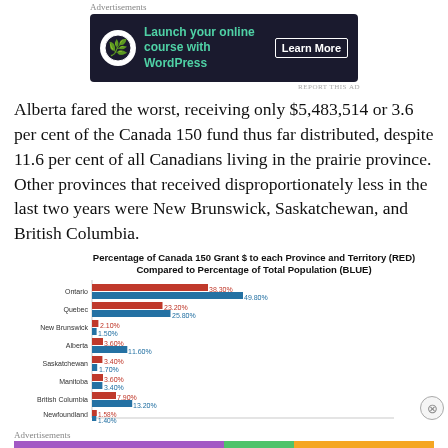[Figure (screenshot): Advertisement banner: 'Launch your online course with WordPress – Learn More' on dark background]
Alberta fared the worst, receiving only $5,483,514 or 3.6 per cent of the Canada 150 fund thus far distributed, despite 11.6 per cent of all Canadians living in the prairie province. Other provinces that received disproportionately less in the last two years were New Brunswick, Saskatchewan, and British Columbia.
[Figure (bar-chart): Percentage of Canada 150 Grant $ to each Province and Territory (RED) Compared to Percentage of Total Population (BLUE)]
[Figure (screenshot): Advertisements bottom bar with colored segments]